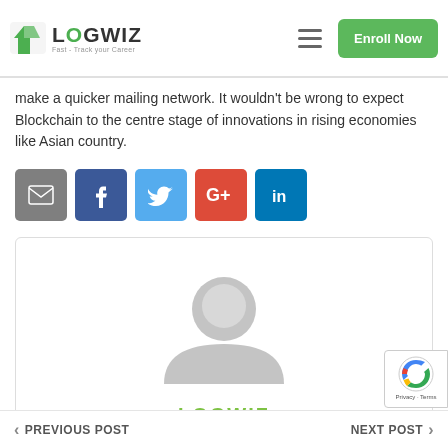[Figure (logo): Logwiz logo with green checkmark icon and tagline 'Fast - Track your Career']
make a quicker mailing network. It wouldn't be wrong to expect Blockchain to the centre stage of innovations in rising economies like Asian country.
[Figure (infographic): Social share buttons: Email (grey), Facebook (blue), Twitter (light blue), Google+ (red), LinkedIn (dark blue)]
[Figure (photo): Author profile card with generic grey avatar placeholder and name LOGWIZ in green]
PREVIOUS POST   NEXT POST